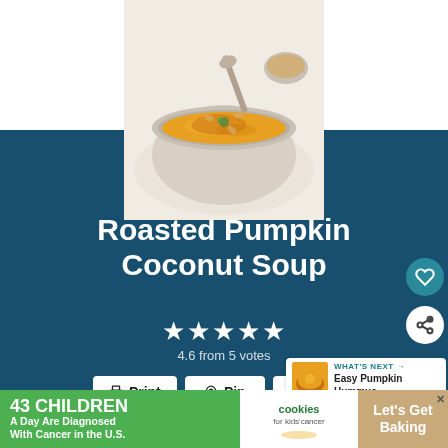[Figure (photo): Bowl of roasted pumpkin coconut soup with a spoon, garnished with herbs and nuts, on a white marble surface]
Roasted Pumpkin Coconut Soup
★★★★★ 4.6 from 5 votes
Print  Pin  Rate
WHAT'S NEXT → Easy Pumpkin Hummus
43 CHILDREN A Day Are Diagnosed With Cancer in the U.S.  cookies for kids' cancer  Let's Get Baking